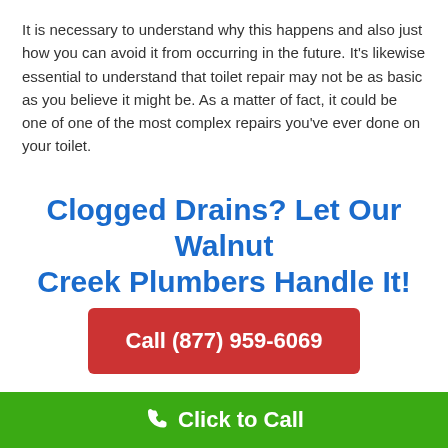It is necessary to understand why this happens and also just how you can avoid it from occurring in the future. It's likewise essential to understand that toilet repair may not be as basic as you believe it might be. As a matter of fact, it could be one of one of the most complex repairs you've ever done on your toilet.
Clogged Drains? Let Our Walnut Creek Plumbers Handle It!
[Figure (other): Red call-to-action button with white bold text reading 'Call (877) 959-6069']
Complete Plumbing Services
Click to Call